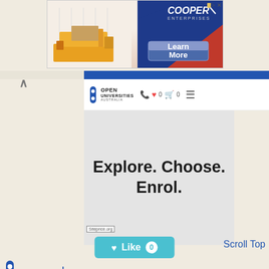[Figure (screenshot): Advertisement banner for Cooper Enterprises with an industrial machine image on the left, blue/red gradient on the right, and a 'Learn More' button]
[Figure (screenshot): Open Universities Australia website screenshot showing the header navigation with logo, phone, heart (0), cart (0), hamburger menu icons, and a hero section with bold text 'Explore. Choose. Enrol.' on a light grey background, with a Siteprice.org badge]
[Figure (screenshot): A teal/blue 'Like 0' button with heart icon]
Scroll Top
[Figure (logo): Open Universities Australia pill logo in blue]
open.edu.au
online courses, degrees & subjects | open universities australia
study online and graduate with a degree from leading australian universities.